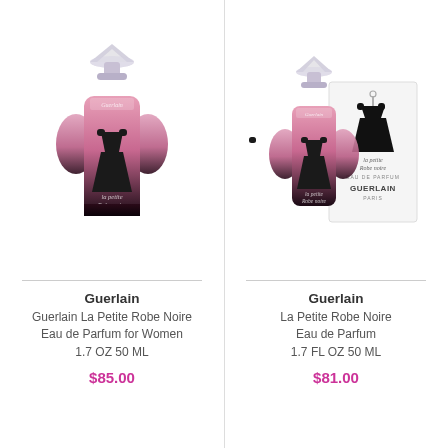[Figure (photo): Guerlain La Petite Robe Noire Eau de Parfum bottle, pink-to-black gradient with black dress silhouette motif and crystal-style cap]
Guerlain
Guerlain La Petite Robe Noire Eau de Parfum for Women 1.7 OZ 50 ML
$85.00
[Figure (photo): Guerlain La Petite Robe Noire Eau de Parfum bottle with box, pink-to-black gradient bottle with black dress silhouette and white branded box]
Guerlain
La Petite Robe Noire Eau de Parfum 1.7 FL OZ 50 ML
$81.00